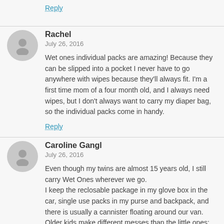Reply
Rachel
July 26, 2016
Wet ones individual packs are amazing! Because they can be slipped into a pocket I never have to go anywhere with wipes because they'll always fit. I'm a first time mom of a four month old, and I always need wipes, but I don't always want to carry my diaper bag, so the individual packs come in handy.
Reply
Caroline Gangl
July 26, 2016
Even though my twins are almost 15 years old, I still carry Wet Ones wherever we go.
I keep the reclosable package in my glove box in the car, single use packs in my purse and backpack, and there is usually a cannister floating around our van. Older kids make different messes than the little ones: makeup mistakes, spilled drinks from soda to iced tea to coffee, and dirt and grime from color guard equipment. ALL these things can be removed from